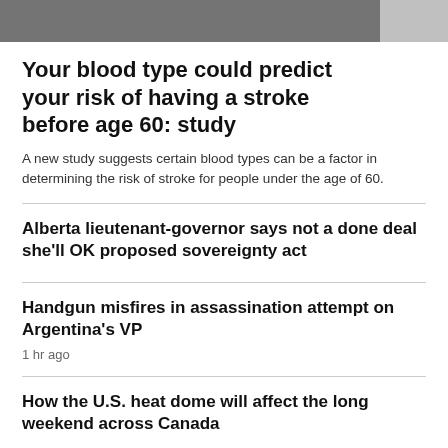[Figure (photo): Partial photo strip at top of page, person or object partially visible, and a lighter gray rectangular corner element at top right]
Your blood type could predict your risk of having a stroke before age 60: study
A new study suggests certain blood types can be a factor in determining the risk of stroke for people under the age of 60.
Alberta lieutenant-governor says not a done deal she'll OK proposed sovereignty act
Handgun misfires in assassination attempt on Argentina's VP
1 hr ago
How the U.S. heat dome will affect the long weekend across Canada